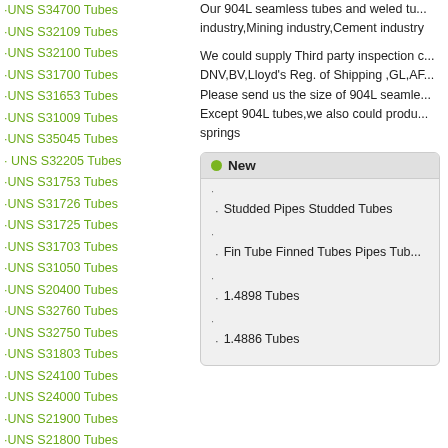·UNS S34700 Tubes
·UNS S32109 Tubes
·UNS S32100 Tubes
·UNS S31700 Tubes
·UNS S31653 Tubes
·UNS S31009 Tubes
·UNS S35045 Tubes
· UNS S32205 Tubes
·UNS S31753 Tubes
·UNS S31726 Tubes
·UNS S31725 Tubes
·UNS S31703 Tubes
·UNS S31050 Tubes
·UNS S20400 Tubes
·UNS S32760 Tubes
·UNS S32750 Tubes
·UNS S31803 Tubes
·UNS S24100 Tubes
·UNS S24000 Tubes
·UNS S21900 Tubes
·UNS S21800 Tubes
·UNS S20910 Tubes
·UNS S17700 Tubes
Our 904L seamless tubes and weled tu... industry,Mining industry,Cement industry...
We could supply Third party inspection c... DNV,BV,Lloyd's Reg. of Shipping ,GL,AF... Please send us the size of 904L seamle... Except 904L tubes,we also could produ... springs
New
Studded Pipes Studded Tubes
Fin Tube Finned Tubes Pipes Tub...
1.4898 Tubes
1.4886 Tubes